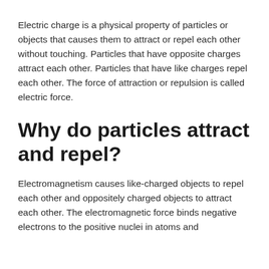Electric charge is a physical property of particles or objects that causes them to attract or repel each other without touching. Particles that have opposite charges attract each other. Particles that have like charges repel each other. The force of attraction or repulsion is called electric force.
Why do particles attract and repel?
Electromagnetism causes like-charged objects to repel each other and oppositely charged objects to attract each other. The electromagnetic force binds negative electrons to the positive nuclei in atoms and